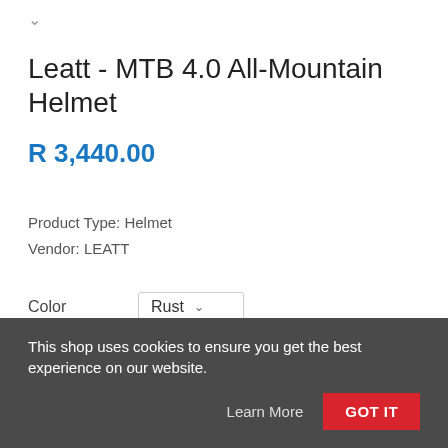Leatt - MTB 4.0 All-Mountain Helmet
R 3,440.00
Product Type: Helmet
Vendor: LEATT
Color  Rust
Size  S
This shop uses cookies to ensure you get the best experience on our website.
Learn More
GOT IT